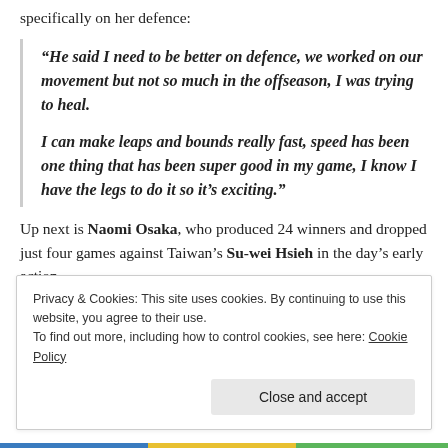specifically on her defence:
“He said I need to be better on defence, we worked on our movement but not so much in the offseason, I was trying to heal.

I can make leaps and bounds really fast, speed has been one thing that has been super good in my game, I know I have the legs to do it so it’s exciting.”
Up next is Naomi Osaka, who produced 24 winners and dropped just four games against Taiwan’s Su-wei Hsieh in the day’s early action.
Privacy & Cookies: This site uses cookies. By continuing to use this website, you agree to their use.
To find out more, including how to control cookies, see here: Cookie Policy
Close and accept